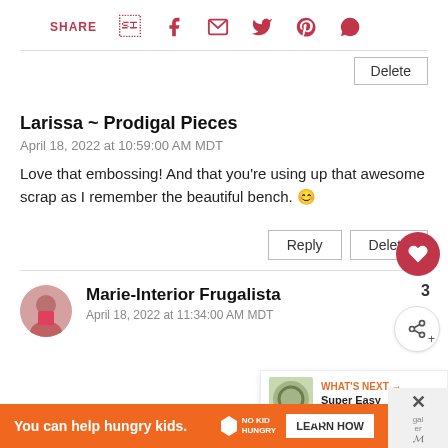SHARE
Larissa ~ Prodigal Pieces
April 18, 2022 at 10:59:00 AM MDT
Love that embossing! And that you're using up that awesome scrap as I remember the beautiful bench. 😊
Marie-Interior Frugalista
April 18, 2022 at 11:34:00 AM MDT
You can help hungry kids.
WHAT'S NEXT → Super Easy Dollar Store...